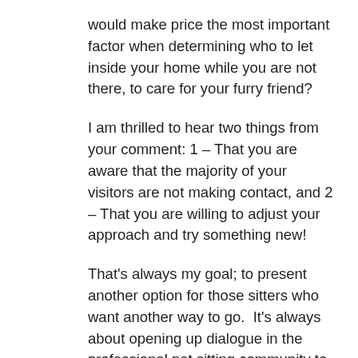would make price the most important factor when determining who to let inside your home while you are not there, to care for your furry friend?
I am thrilled to hear two things from your comment: 1 – That you are aware that the majority of your visitors are not making contact, and 2 – That you are willing to adjust your approach and try something new!
That's always my goal; to present another option for those sitters who want another way to go.  It's always about opening up dialogue in the professional pet sitting community to present yourself more